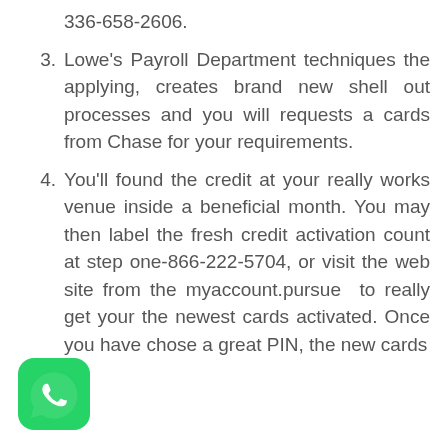336-658-2606.
Lowe's Payroll Department techniques the applying, creates brand new shell out processes and you will requests a cards from Chase for your requirements.
You'll found the credit at your really works venue inside a beneficial month. You may then label the fresh credit activation count at step one-866-222-5704, or visit the web site from the myaccount.pursue to really get your the newest cards activated. Once you have chose a great PIN, the new cards
[Figure (logo): WhatsApp green phone icon logo]